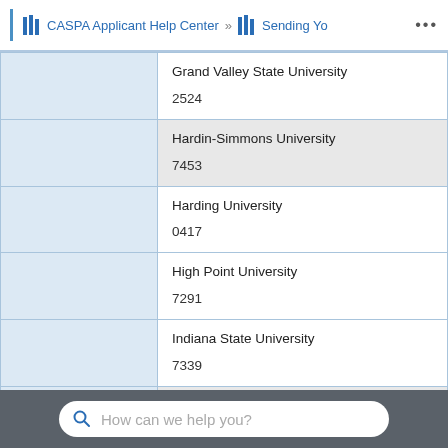CASPA Applicant Help Center » Sending Yo ...
|  | Institution / Code |
| --- | --- |
|  | Grand Valley State University
2524 |
|  | Hardin-Simmons University
7453 |
|  | Harding University
0417 |
|  | High Point University
7291 |
|  | Indiana State University
7339 |
|  | Indiana University School of Health & Human Sciences |
How can we help you?